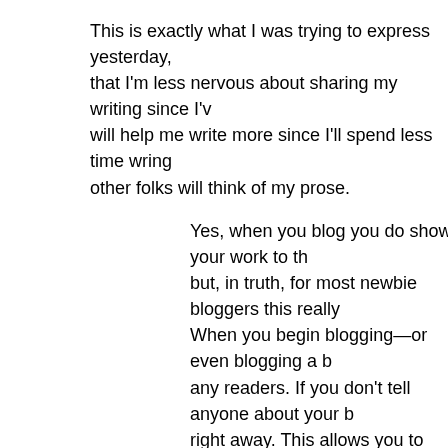This is exactly what I was trying to express yesterday, that I'm less nervous about sharing my writing since I've will help me write more since I'll spend less time wring other folks will think of my prose.
Yes, when you blog you do show your work to th but, in truth, for most newbie bloggers this really When you begin blogging—or even blogging a b any readers. If you don't tell anyone about your b right away. This allows you to get your cyberspa blog voice and your idea before anyone even sh in most cases. You can even delete the first post start over and in many cases no one will have re
When I read this I got excited, because this is exactly w blog posts have gone to the great blog in the sky.) But wasn't using Google Analytics in the beginning so I ha reading what I wrote -- and I suspect no one was. But writing, it got me writing to a schedule and it helped m when folks did eventually come by and take a peek, th at